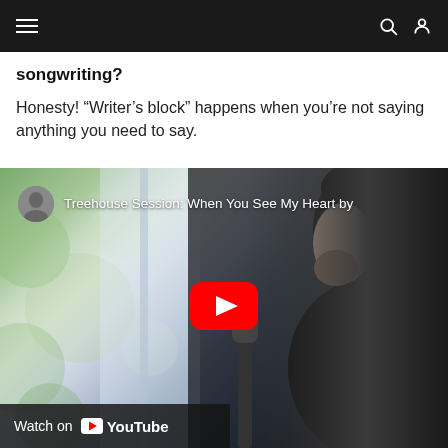Navigation bar with hamburger menu, search, and user icons
songwriting?
Honesty! “Writer’s block” happens when you’re not saying anything you need to say.
[Figure (screenshot): YouTube embedded video player showing 'Treehouse Session: When You See My Heart by' with a man singing into a microphone, with a YouTube play button overlay and 'Watch on YouTube' bar at the bottom]